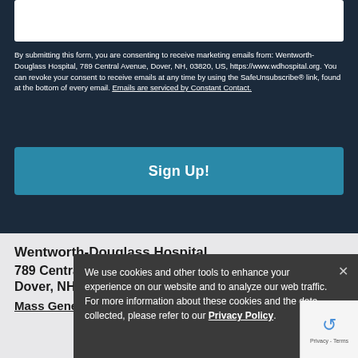[Figure (screenshot): White input box at the top of the dark navy form section]
By submitting this form, you are consenting to receive marketing emails from: Wentworth-Douglass Hospital, 789 Central Avenue, Dover, NH, 03820, US, https://www.wdhospital.org. You can revoke your consent to receive emails at any time by using the SafeUnsubscribe® link, found at the bottom of every email. Emails are serviced by Constant Contact.
Sign Up!
Wentworth-Douglass Hospital
789 Central Avenue
Dover, NH 03820
Mass General Brigham
We use cookies and other tools to enhance your experience on our website and to analyze our web traffic. For more information about these cookies and the data collected, please refer to our Privacy Policy.